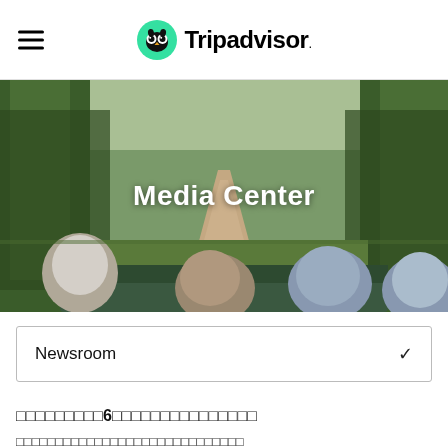Tripadvisor
[Figure (photo): Rear view of people riding in an open vehicle on a jungle/forest dirt track, with misty green trees on both sides. 'Media Center' text overlay in white bold font.]
Media Center
Newsroom
□□□□□□□□□6□□□□□□□□□□□□□□□
□□□□□□□□□□□□□□□□□□□□□□□□□□□□□